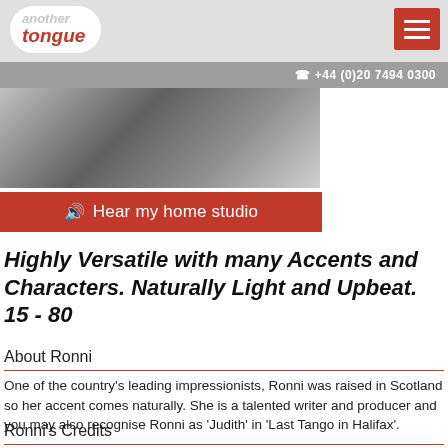another tongue | +44 (0)20 7494 0300
[Figure (photo): Black and white photo of a person, partially visible, upper body area]
Hear my home studio
Highly Versatile with many Accents and Characters. Naturally Light and Upbeat. 15 - 80
About Ronni
One of the country's leading impressionists, Ronni was raised in Scotland so her accent comes naturally. She is a talented writer and producer and you may also recognise Ronni as 'Judith' in 'Last Tango in Halifax'.
Ronni's Credits